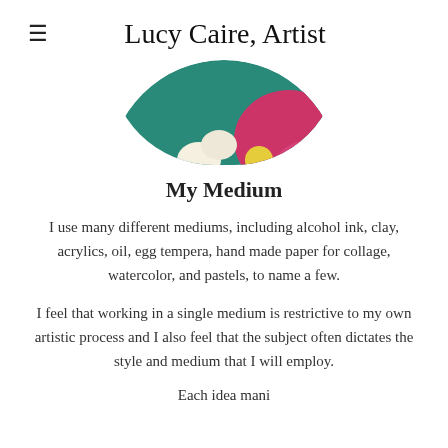≡  Lucy Caire, Artist
[Figure (photo): Bottom half of a circular cropped photograph showing colorful abstract art with yellow, pink, teal and floral motifs]
My Medium
I use many different mediums, including alcohol ink, clay, acrylics, oil, egg tempera, hand made paper for collage, watercolor, and pastels, to name a few.
I feel that working in a single medium is restrictive to my own artistic process and I also feel that the subject often dictates the style and medium that I will employ.
Each idea mani